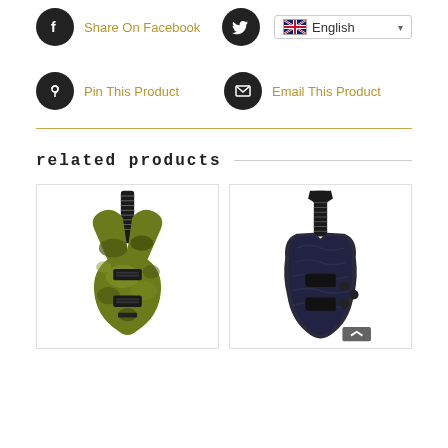[Figure (screenshot): Share On Facebook social button with dark circular Facebook icon and golden text label]
[Figure (screenshot): Language selector dropdown showing UK flag and 'English' with dropdown arrow]
[Figure (screenshot): Pin This Product social button with dark circular Pinterest icon and golden text label]
[Figure (screenshot): Email This Product social button with dark circular envelope icon and golden text label]
Related Products
[Figure (photo): Electric guitar with SG-style body in yellow-green camouflage finish with dark fretboard]
[Figure (photo): Electric guitar with Les Paul-style body in dark blue/grey quilted maple top finish]